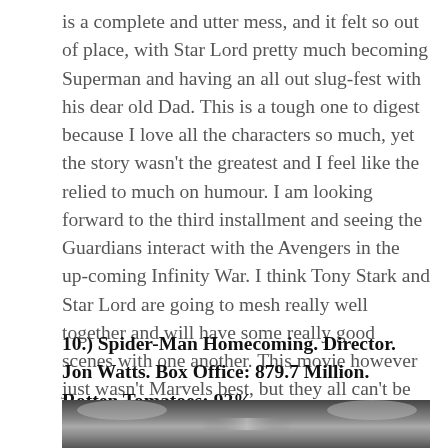is a complete and utter mess, and it felt so out of place, with Star Lord pretty much becoming Superman and having an all out slug-fest with his dear old Dad. This is a tough one to digest because I love all the characters so much, yet the story wasn't the greatest and I feel like the relied to much on humour. I am looking forward to the third installment and seeing the Guardians interact with the Avengers in the up-coming Infinity War. I think Tony Stark and Star Lord are going to mesh really well together and will have some really good scenes with one another. This movie however just wasn't Marvels best, but they all can't be home runs, that's just impossible to ask.
10.) Spider-Man Homecoming. Director. Jon Watts. Box Office: 879.7 Million. Rotten Tomatoes: 92%
[Figure (photo): Dark cinematic still image, likely from Spider-Man Homecoming, showing an interior scene with light sources visible.]